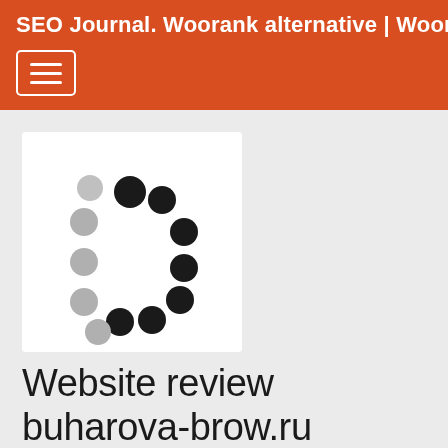SEO Journal. Woorank alternative | Woorank eq
[Figure (logo): Circular loading spinner logo with alternating grey and black dots arranged in a circle on white background]
Website review buharova-brow.ru
Generated on January 07 2022 15:09 PM
Old data? UPDATE !